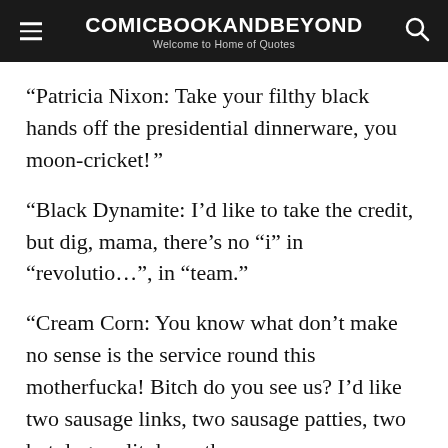COMICBOOKANDBEYOND Welcome to Home of Quotes
“Patricia Nixon: Take your filthy black hands off the presidential dinnerware, you moon-cricket!”
“Black Dynamite: I’d like to take the credit, but dig, mama, there’s no “i” in “revolutio…”, in “team.”
“Cream Corn: You know what don’t make no sense is the service round this motherfucka! Bitch do you see us? I’d like two sausage links, two sausage patties, two hot dogs split down the